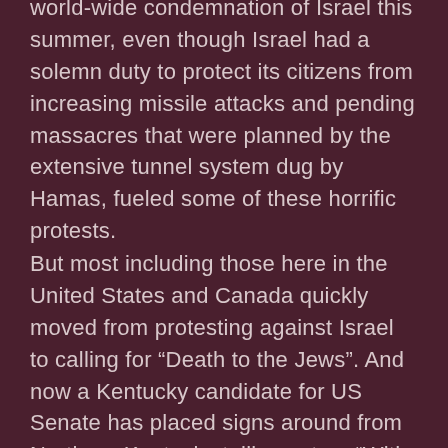world-wide condemnation of Israel this summer, even though Israel had a solemn duty to protect its citizens from increasing missile attacks and pending massacres that were planned by the extensive tunnel system dug by Hamas, fueled some of these horrific protests.
But most including those here in the United States and Canada quickly moved from protesting against Israel to calling for “Death to the Jews”. And now a Kentucky candidate for US Senate has placed signs around from Northern Kentucky telling voters “With Jews You Lose.” Today in Jackson Ms the new rabbi in town was thrown out of a local restaurant for being